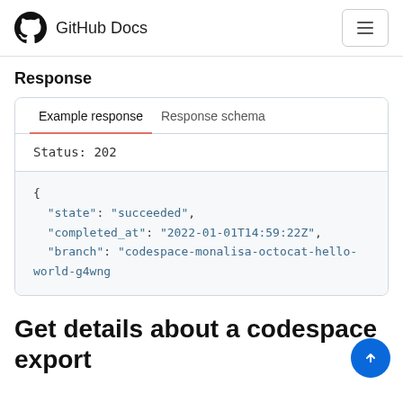GitHub Docs
Response
Example response	Response schema
Status: 202
{
  "state": "succeeded",
  "completed_at": "2022-01-01T14:59:22Z",
  "branch": "codespace-monalisa-octocat-hello-world-g4wng6...
Get details about a codespace export